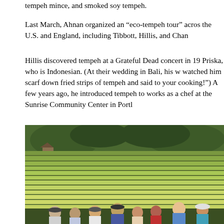tempeh mince, and smoked soy tempeh.
Last March, Ahnan organized an “eco-tempeh tour” across the U.S. and England, including Tibbott, Hillis, and Chan
Hillis discovered tempeh at a Grateful Dead concert in 19 Priska, who is Indonesian. (At their wedding in Bali, his w watched him scarf down fried strips of tempeh and said to your cooking!”) A few years ago, he introduced tempeh to works as a chef at the Sunrise Community Center in Portl
[Figure (photo): Group of people posing in front of lush green terraced rice fields in Bali, Indonesia. The terraces extend across rolling hills with trees and forest in the background. About 8-9 people are standing at the bottom of the image smiling at the camera.]